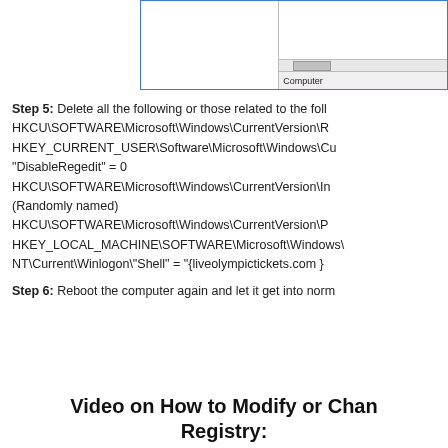[Figure (screenshot): Partial screenshot of Windows Registry Editor showing a split panel with blue border, horizontal scrollbar, and status bar showing 'Computer']
Step 5: Delete all the following or those related to the following:
HKCU\SOFTWARE\Microsoft\Windows\CurrentVersion\R
HKEY_CURRENT_USER\Software\Microsoft\Windows\Cu
"DisableRegedit" = 0
HKCU\SOFTWARE\Microsoft\Windows\CurrentVersion\In
(Randomly named)
HKCU\SOFTWARE\Microsoft\Windows\CurrentVersion\P
HKEY_LOCAL_MACHINE\SOFTWARE\Microsoft\Windows\
NT\Current\Winlogon\"Shell" = "{liveolympictickets.com }
Step 6: Reboot the computer again and let it get into norm
Video on How to Modify or Change Registry: